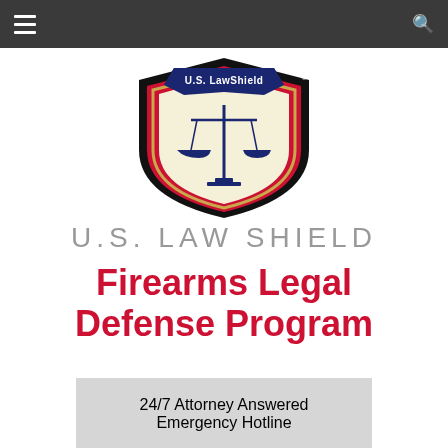U.S. Law Shield navigation header
[Figure (logo): U.S. LawShield shield logo with balance scales, navy blue and red colors, gold banner reading 'U.S. LawShield']
U.S. LAW SHIELD
Firearms Legal Defense Program
24/7 Attorney Answered Emergency Hotline